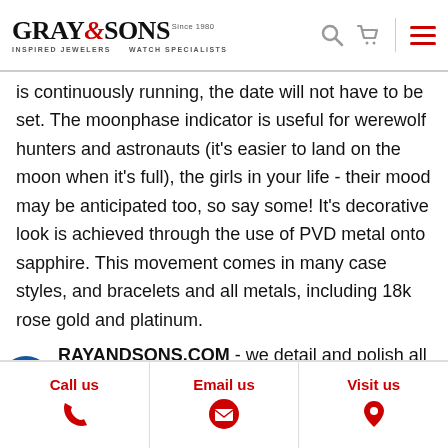Gray & Sons Inspired Jewelers Watch Specialists — Since 1980
is continuously running, the date will not have to be set. The moonphase indicator is useful for werewolf hunters and astronauts (it's easier to land on the moon when it's full), the girls in your life - their mood may be anticipated too, so say some! It's decorative look is achieved through the use of PVD metal onto sapphire. This movement comes in many case styles, and bracelets and all metals, including 18k rose gold and platinum.
GRAYANDSONS.COM - we detail and polish all luxury watch cases and bracelets / bands back to factory like new
Call us | Email us | Visit us